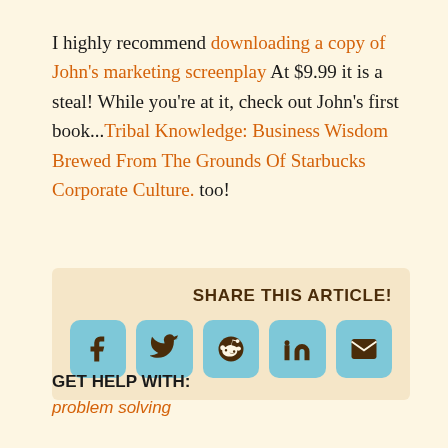I highly recommend downloading a copy of John's marketing screenplay At $9.99 it is a steal! While you're at it, check out John's first book...Tribal Knowledge: Business Wisdom Brewed From The Grounds Of Starbucks Corporate Culture. too!
[Figure (other): Share this article panel with social media icon buttons: Facebook, Twitter, Reddit, LinkedIn, Email. Title reads SHARE THIS ARTICLE!]
GET HELP WITH:
problem solving